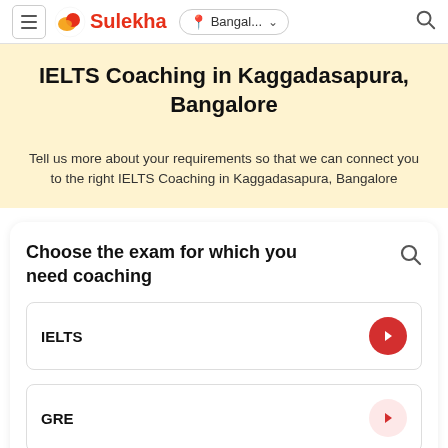Sulekha — Bangal... (location) — Search
IELTS Coaching in Kaggadasapura, Bangalore
Tell us more about your requirements so that we can connect you to the right IELTS Coaching in Kaggadasapura, Bangalore
Choose the exam for which you need coaching
IELTS
GRE
Get Started